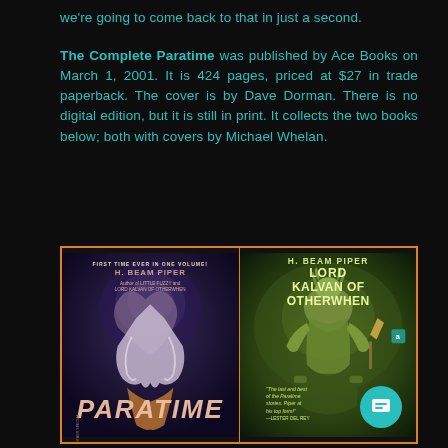we're going to come back to that in just a second.
The Complete Paratime was published by Ace Books on March 1, 2001. It is 424 pages, priced at $27 in trade paperback. The cover is by Dave Dorman. There is no digital edition, but it is still in print. It collects the two books below; both with covers by Michael Whelan.
[Figure (photo): Two book covers side by side with orange border. Left: H. Beam Piper 'Paratime' paperback with fantasy art. Right: H. Beam Piper 'Lord Kalvan of Otherwhen' paperback with green-toned warrior figure.]